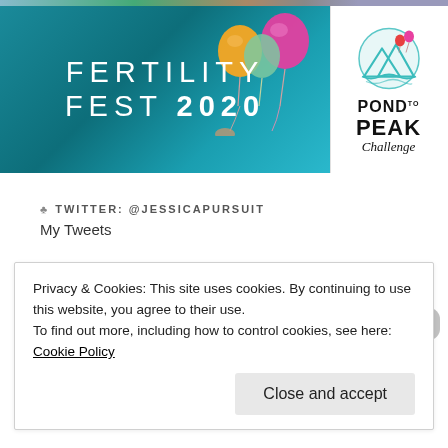[Figure (photo): Fertility Fest 2020 banner with colorful balloons on a teal/turquoise background]
[Figure (logo): Pond to Peak Challenge logo with mountain and balloons graphic]
TWITTER: @JESSICAPURSUIT
My Tweets
FACEBOOK
Privacy & Cookies: This site uses cookies. By continuing to use this website, you agree to their use.
To find out more, including how to control cookies, see here: Cookie Policy
Close and accept